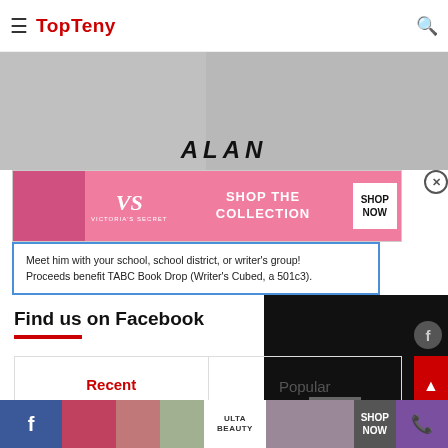TopTeny
[Figure (screenshot): Hero image area with ALAN text overlay and background images]
[Figure (infographic): Victoria's Secret advertisement banner: SHOP THE COLLECTION - SHOP NOW button]
Meet him with your school, school district, or writer's group! Proceeds benefit TABC Book Drop (Writer's Cubed, a 501c3).
Find us on Facebook
[Figure (screenshot): Black panel with Facebook icon]
[Figure (screenshot): Recent / Popular tab navigation]
Bottom navigation bar with Facebook icon, Ulta Beauty advertisement (SHOP NOW), and phone icon